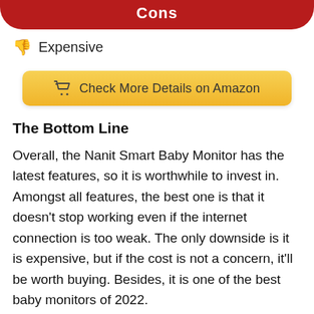Cons
Expensive
[Figure (other): Yellow Amazon button with shopping cart icon: Check More Details on Amazon]
The Bottom Line
Overall, the Nanit Smart Baby Monitor has the latest features, so it is worthwhile to invest in. Amongst all features, the best one is that it doesn't stop working even if the internet connection is too weak. The only downside is it is expensive, but if the cost is not a concern, it'll be worth buying. Besides, it is one of the best baby monitors of 2022.